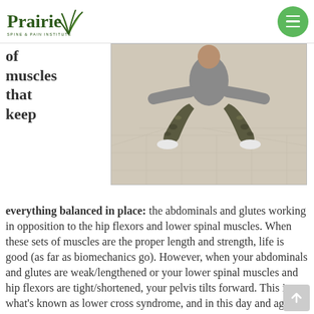Prairie Spine & Pain Institute
of muscles that keep
[Figure (photo): Person in camouflage pants in a wide squat stance on a tiled floor, viewed from behind/side, demonstrating hip flexor or pelvic posture position.]
everything balanced in place: the abdominals and glutes working in opposition to the hip flexors and lower spinal muscles. When these sets of muscles are the proper length and strength, life is good (as far as biomechanics go). However, when your abdominals and glutes are weak/lengthened or your lower spinal muscles and hip flexors are tight/shortened, your pelvis tilts forward. This is what's known as lower cross syndrome, and in this day and age it's rare to find someone who doesn't have some degree of forward pelvic tilt due to the amount of sitting most of us do on a daily basis.